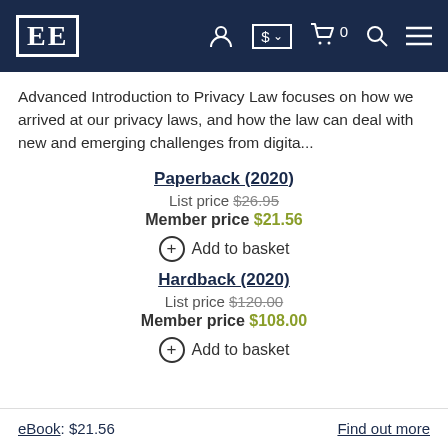EE [logo with navigation icons]
Advanced Introduction to Privacy Law focuses on how we arrived at our privacy laws, and how the law can deal with new and emerging challenges from digita...
Paperback (2020)
List price $26.95
Member price $21.56
⊕ Add to basket
Hardback (2020)
List price $120.00
Member price $108.00
⊕ Add to basket
eBook: $21.56    Find out more